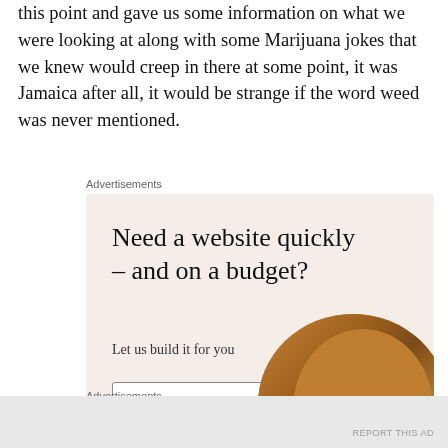this point and gave us some information on what we were looking at along with some Marijuana jokes that we knew would creep in there at some point, it was Jamaica after all, it would be strange if the word weed was never mentioned.
Advertisements
[Figure (other): Advertisement banner with beige/cream background. Headline: 'Need a website quickly – and on a budget?' Subtext: 'Let us build it for you'. Button: 'Let's get started'. Circular photo of person's hands typing on laptop wearing a mustard/orange knit sweater.]
Advertisements